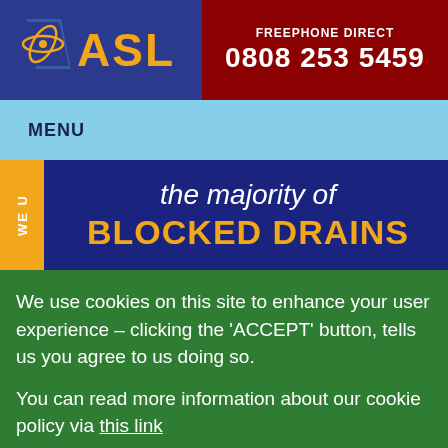[Figure (logo): ASL company logo with orbital graphic icon and gold text on blue background]
FREEPHONE DIRECT 0808 253 5459
MENU
[Figure (illustration): Banner with dark blue background showing text 'the majority of BLOCKED DRAINS' with an orange 'WE U' tag on the left]
We use cookies on this site to enhance your user experience – clicking the 'ACCEPT' button, tells us you agree to us doing so.
You can read more information about our cookie policy via this link
ACCEPT   NO, THANK YOU